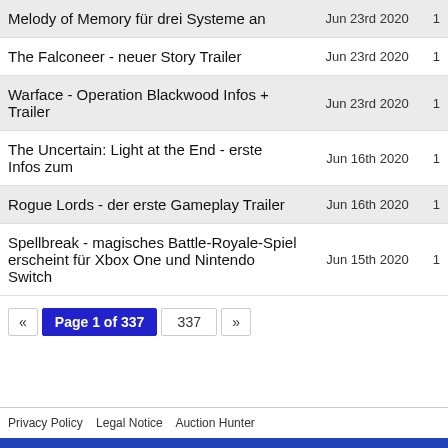| Title | Date |  |
| --- | --- | --- |
| Melody of Memory für drei Systeme an | Jun 23rd 2020 | 1 |
| The Falconeer - neuer Story Trailer | Jun 23rd 2020 | 1 |
| Warface - Operation Blackwood Infos + Trailer | Jun 23rd 2020 | 1 |
| The Uncertain: Light at the End - erste Infos zum | Jun 16th 2020 | 1 |
| Rogue Lords - der erste Gameplay Trailer | Jun 16th 2020 | 1 |
| Spellbreak - magisches Battle-Royale-Spiel erscheint für Xbox One und Nintendo Switch | Jun 15th 2020 | 1 |
Page 1 of 337  337
Privacy Policy  Legal Notice  Auction Hunter